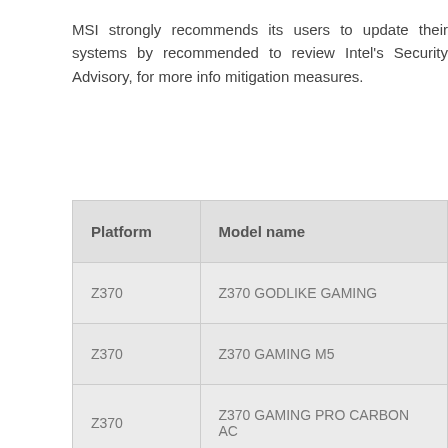MSI strongly recommends its users to update their systems by recommended to review Intel's Security Advisory, for more info mitigation measures.
| Platform | Model name |
| --- | --- |
| Z370 | Z370 GODLIKE GAMING |
| Z370 | Z370 GAMING M5 |
| Z370 | Z370 GAMING PRO CARBON AC |
| Z370 | Z370 GAMING PRO CARBON |
| Z370 | Z370I GAMING PRO CARBON AC |